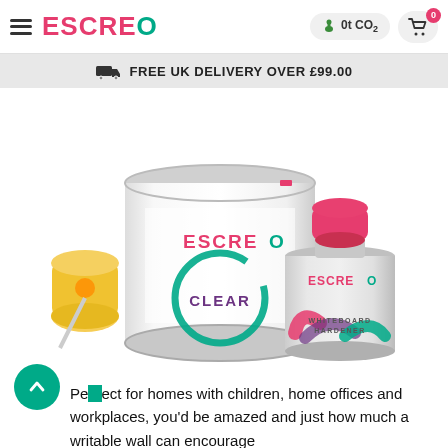ESCREO | 0t CO2 | Cart 0
FREE UK DELIVERY OVER £99.00
[Figure (photo): Two white paint cans (large ESCREO CLEAR and small ESCREO WHITEBOARD HARDENER) with a yellow paint roller, on white background]
Perfect for homes with children, home offices and workplaces, you'd be amazed and just how much a writable wall can encourage